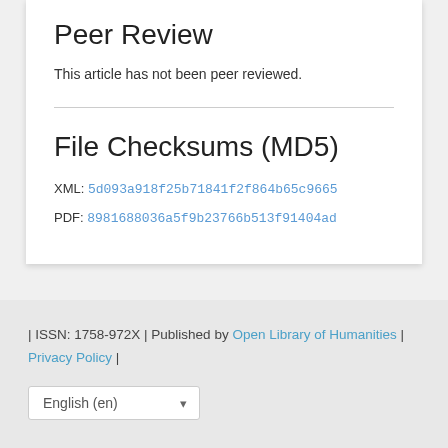Peer Review
This article has not been peer reviewed.
File Checksums (MD5)
XML: 5d093a918f25b71841f2f864b65c9665
PDF: 8981688036a5f9b23766b513f91404ad
| ISSN: 1758-972X | Published by Open Library of Humanities | Privacy Policy |